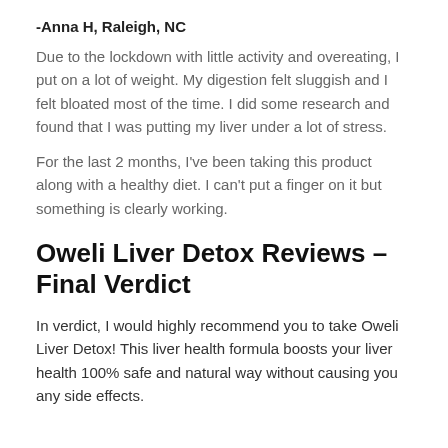-Anna H, Raleigh, NC
Due to the lockdown with little activity and overeating, I put on a lot of weight. My digestion felt sluggish and I felt bloated most of the time. I did some research and found that I was putting my liver under a lot of stress.
For the last 2 months, I've been taking this product along with a healthy diet. I can't put a finger on it but something is clearly working.
Oweli Liver Detox Reviews – Final Verdict
In verdict, I would highly recommend you to take Oweli Liver Detox! This liver health formula boosts your liver health 100% safe and natural way without causing you any side effects.